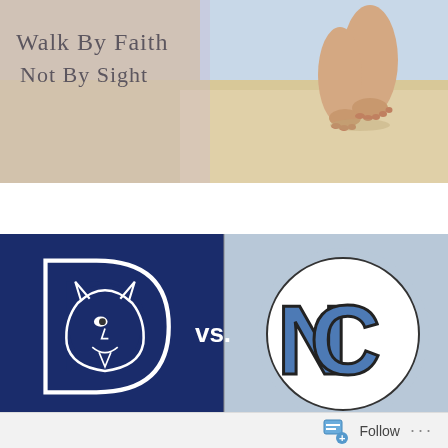[Figure (photo): Beach scene with person walking, background for blog header. Handwritten text overlay reads 'Walk By Faith Not By Sight']
All You Need is Jesus
[Figure (photo): Duke vs UNC rivalry image: Duke Blue Devils logo (dark navy blue background with Duke devil mascot) on left, 'vs.' text in center, UNC Tar Heels interlocked NC logo on light blue background on right]
BASKETBALL, RANDOM, TAR HEELS
RIVALRY WEEK
FEBRUARY 6, 2018   LEIGH   3 COMMENTS
Follow